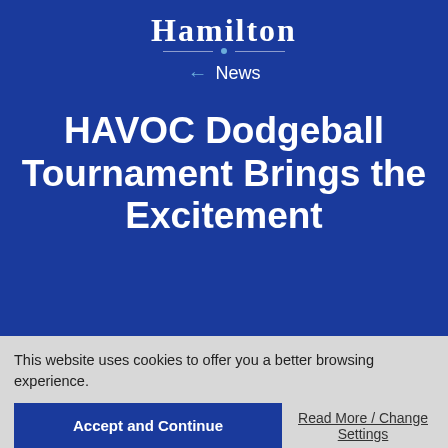Hamilton
← News
HAVOC Dodgeball Tournament Brings the Excitement
by Liz Morris '16
November 18, 2014
Students
This website uses cookies to offer you a better browsing experience.
Accept and Continue
Read More / Change Settings